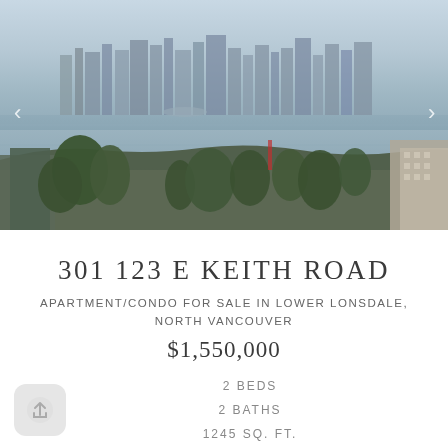[Figure (photo): Aerial/elevated view of Vancouver skyline across water with trees and buildings in foreground, North Vancouver perspective]
301 123 E KEITH ROAD
APARTMENT/CONDO FOR SALE IN LOWER LONSDALE, NORTH VANCOUVER
$1,550,000
2 BEDS
2 BATHS
1245 SQ. FT.